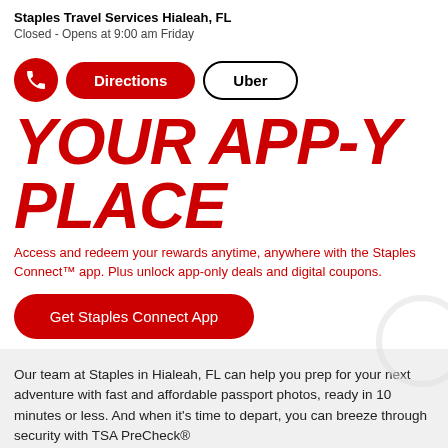Staples Travel Services Hialeah, FL
Closed - Opens at 9:00 am Friday
[Figure (infographic): Phone call button (red circle with phone icon), Directions button (red pill), Uber button (outlined pill)]
YOUR APP-Y PLACE
Access and redeem your rewards anytime, anywhere with the Staples Connect™ app. Plus unlock app-only deals and digital coupons.
[Figure (infographic): Red rounded button labeled Get Staples Connect App]
Our team at Staples in Hialeah, FL can help you prep for your next adventure with fast and affordable passport photos, ready in 10 minutes or less. And when it's time to depart, you can breeze through security with TSA PreCheck®
Services available at Staples 1700 West 49th Street, Hialeah, FL